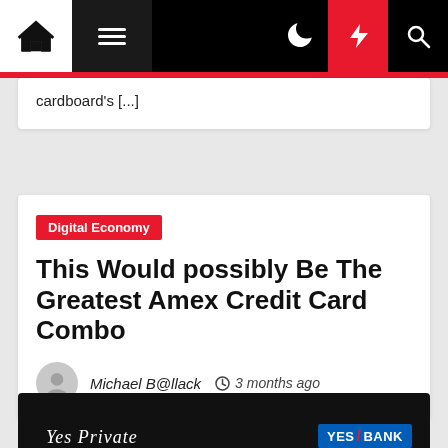Navigation bar with home, menu, dark mode, bolt, and search icons
cardboard's [...]
Digital Economy
This Would possibly Be The Greatest Amex Credit Card Combo
Michael B@llack  3 months ago
[Figure (photo): A dark credit card showing 'Yes Private' text and YES BANK logo]